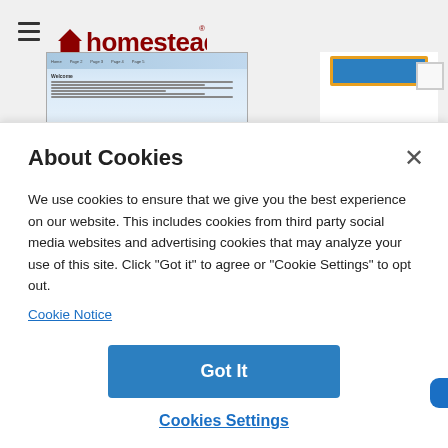[Figure (screenshot): Homestead website builder interface screenshot showing a website preview with navigation bar and welcome text, alongside a blue button with orange border and links 'Choose a different c...' and 'Delete this site']
About Cookies
We use cookies to ensure that we give you the best experience on our website. This includes cookies from third party social media websites and advertising cookies that may analyze your use of this site. Click "Got it" to agree or "Cookie Settings" to opt out.
Cookie Notice
Got It
Cookies Settings